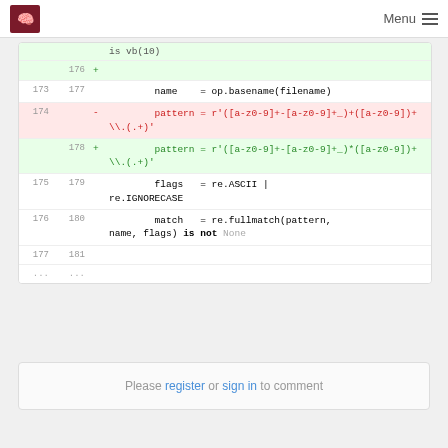Menu
Code diff showing lines 173-181 with a regex pattern change from + to *
Please register or sign in to comment